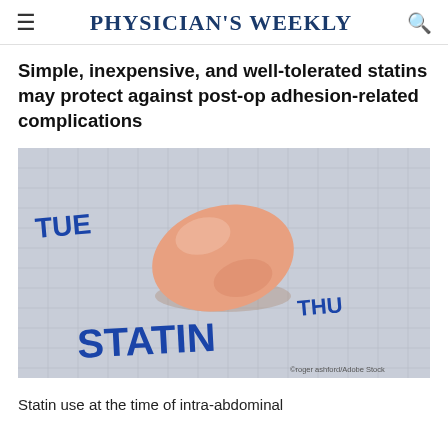Physician's Weekly
Simple, inexpensive, and well-tolerated statins may protect against post-op adhesion-related complications
[Figure (photo): A pink/orange oval statin pill resting on a pill organizer blister pack labeled TUE and THU with the word STATIN printed on it. Watermark reads: ©roger ashford/Adobe Stock]
Statin use at the time of intra-abdominal